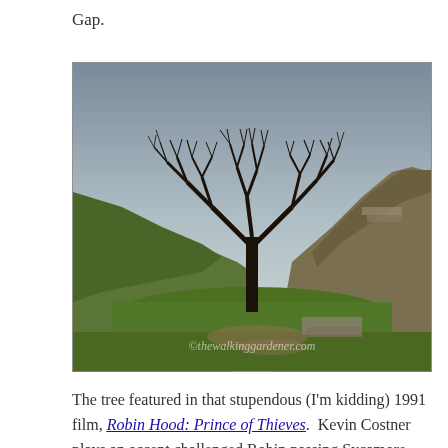Gap.
[Figure (photo): A lone bare sycamore tree standing in a dip between two grassy hillsides with a stone wall, under a grey sky. Watermark reads: ©thewalkinggardener.com]
The tree featured in that stupendous (I'm kidding) 1991 film, Robin Hood: Prince of Thieves.  Kevin Costner plays an accent challenged Robin passing Sycamore Gap on his way from Dover to Nottingham.  Accomplished